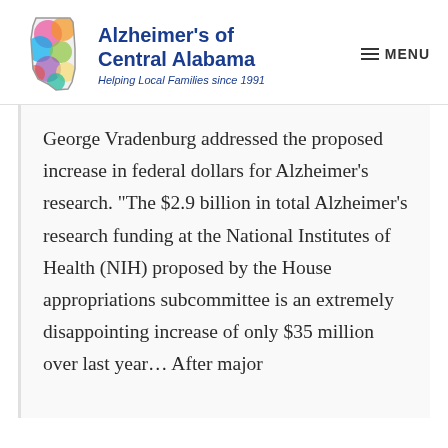Alzheimer's of Central Alabama — Helping Local Families since 1991 — MENU
George Vradenburg addressed the proposed increase in federal dollars for Alzheimer's research. "The $2.9 billion in total Alzheimer's research funding at the National Institutes of Health (NIH) proposed by the House appropriations subcommittee is an extremely disappointing increase of only $35 million over last year… After major